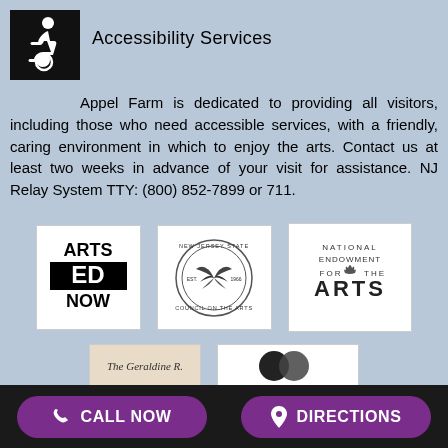[Figure (illustration): Black and white wheelchair accessibility icon — white wheelchair person symbol on black square background]
Accessibility Services
Appel Farm is dedicated to providing all visitors, including those who need accessible services, with a friendly, caring environment in which to enjoy the arts. Contact us at least two weeks in advance of your visit for assistance. NJ Relay System TTY: (800) 852-7899 or 711.
[Figure (logo): Arts Ed Now logo — bold black text]
[Figure (logo): New Jersey State Council on the Arts logo — circular seal Est. 1966]
[Figure (logo): National Endowment for the Arts logo]
[Figure (logo): The Geraldine R. (partial logo)]
[Figure (logo): Partial logo with circular icon]